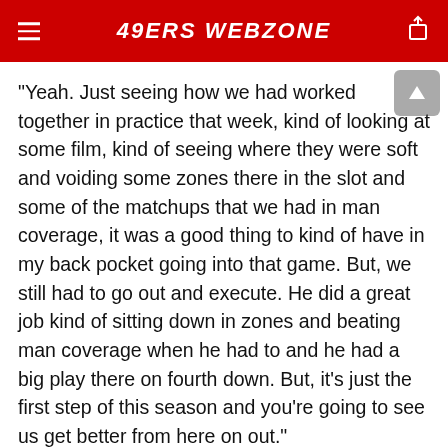49ERS WEBZONE
"Yeah. Just seeing how we had worked together in practice that week, kind of looking at some film, kind of seeing where they were soft and voiding some zones there in the slot and some of the matchups that we had in man coverage, it was a good thing to kind of have in my back pocket going into that game. But, we still had to go out and execute. He did a great job kind of sitting down in zones and beating man coverage when he had to and he had a big play there on fourth down. But, it's just the first step of this season and you're going to see us get better from here on out."
* Transcript provided by the San Francisco 49ers